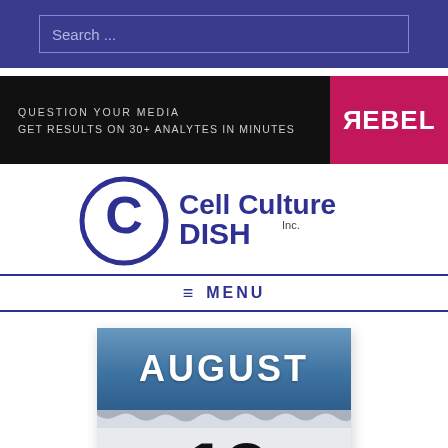Search ...
[Figure (illustration): Advertisement banner: black background with text 'QUESTION YOUR MEDIA / GET RESULTS ON 30+ ANALYTES IN MINUTES' and REBEL logo on pink/magenta background]
[Figure (logo): Cell Culture Dish Inc. logo — blue circle C icon with 'Cell Culture DISH Inc.' text in blue]
≡ MENU
[Figure (photo): Calendar image showing 'AUGUST' on a blue header section with torn paper effect, and the number '19' below on a light grey/white section]